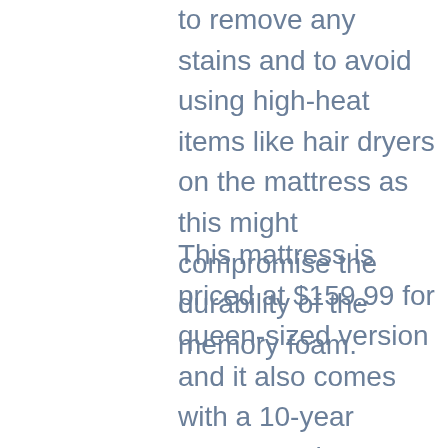to remove any stains and to avoid using high-heat items like hair dryers on the mattress as this might compromise the durability of the memory foam.
This mattress is priced at $159.99 for queen-sized version and it also comes with a 10-year warranty. The manufacturer does not provide any sleep trial for this mattress so you do not have a return policy attached with the product. Overall, this is a good product to consider for a